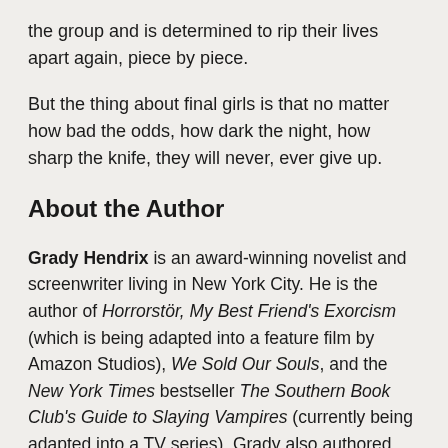the group and is determined to rip their lives apart again, piece by piece.
But the thing about final girls is that no matter how bad the odds, how dark the night, how sharp the knife, they will never, ever give up.
About the Author
Grady Hendrix is an award-winning novelist and screenwriter living in New York City. He is the author of Horrorstör, My Best Friend's Exorcism (which is being adapted into a feature film by Amazon Studios), We Sold Our Souls, and the New York Times bestseller The Southern Book Club's Guide to Slaying Vampires (currently being adapted into a TV series). Grady also authored the Bram Stoker Award–winning nonfiction book Paperbacks from